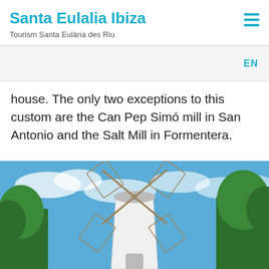Santa Eulalia Ibiza
Tourism Santa Eulària des Riu
EN
house. The only two exceptions to this custom are the Can Pep Simó mill in San Antonio and the Salt Mill in Formentera.
[Figure (photo): Photograph of a traditional white windmill with large wooden sails/blades against a blue sky with white clouds, surrounded by green pine trees. The windmill tower is white and conical.]